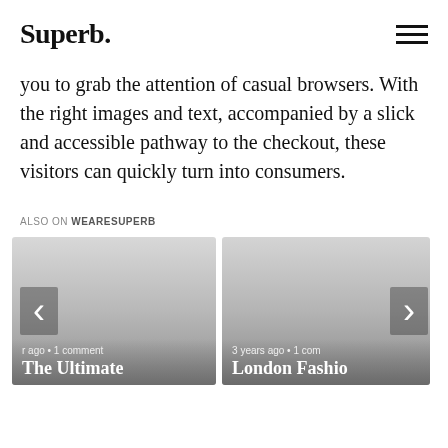Superb.
you to grab the attention of casual browsers. With the right images and text, accompanied by a slick and accessible pathway to the checkout, these visitors can quickly turn into consumers.
ALSO ON WEARESUPERB
[Figure (screenshot): Two article cards side by side. Left card shows 'ago • 1 comment' and title 'The Ultimate'. Right card shows '3 years ago • 1 com' and title 'London Fashio'. Navigation arrows on left and right sides.]